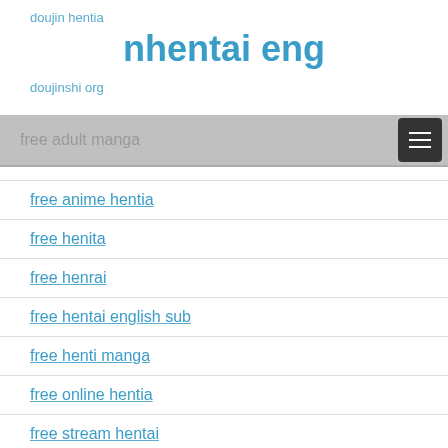doujin hentia
nhentai eng
doujinshi org
free adult manga
free anime hentia
free henita
free henrai
free hentai english sub
free henti manga
free online hentia
free stream hentai
ge hentai manga